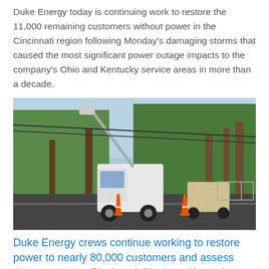Duke Energy today is continuing work to restore the 11,000 remaining customers without power in the Cincinnati region following Monday's damaging storms that caused the most significant power outage impacts to the company's Ohio and Kentucky service areas in more than a decade.
[Figure (photo): A utility bucket truck with an extended boom arm working on downed power lines on a tree-lined suburban street. Orange traffic cones are visible on the road. A second utility vehicle is in the background.]
Duke Energy crews continue working to restore power to nearly 80,000 customers and assess damage across Cincinnati, Northern Kentucky